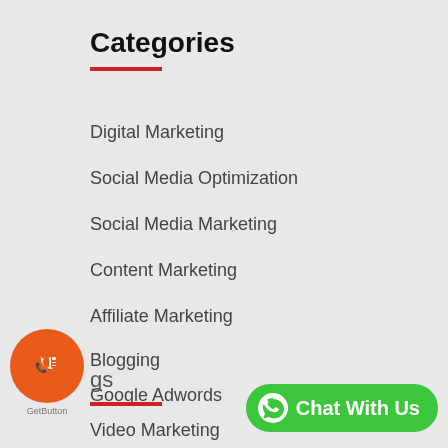Categories
Digital Marketing
Social Media Optimization
Social Media Marketing
Content Marketing
Affiliate Marketing
Blogging
Google Adwords
Video Marketing
Tags
[Figure (illustration): Orange circular phone/call button icon (GetButton widget) at bottom left]
[Figure (illustration): Green Chat With Us button with WhatsApp icon at bottom right]